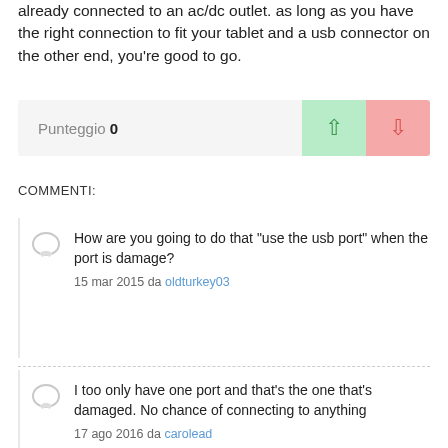already connected to an ac/dc outlet. as long as you have the right connection to fit your tablet and a usb connector on the other end, you're good to go.
Punteggio 0
COMMENTI:
How are you going to do that "use the usb port" when the port is damage?
15 mar 2015 da oldturkey03
I too only have one port and that's the one that's damaged. No chance of connecting to anything
17 ago 2016 da carolead